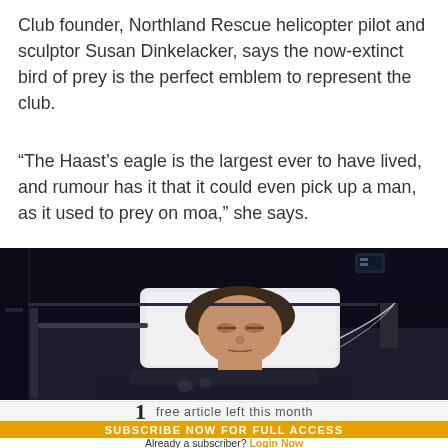Club founder, Northland Rescue helicopter pilot and sculptor Susan Dinkelacker, says the now-extinct bird of prey is the perfect emblem to represent the club.
“The Haast’s eagle is the largest ever to have lived, and rumour has it that it could even pick up a man, as it used to prey on moa,” she says.
[Figure (photo): A woman lying in a hospital bed with a white pillow, wearing a dark top, with medical equipment and IV lines visible in the background.]
1  free article left this month
SUBSCRIBE NOW FOR FULL ACCESS
Already a subscriber? Login Now